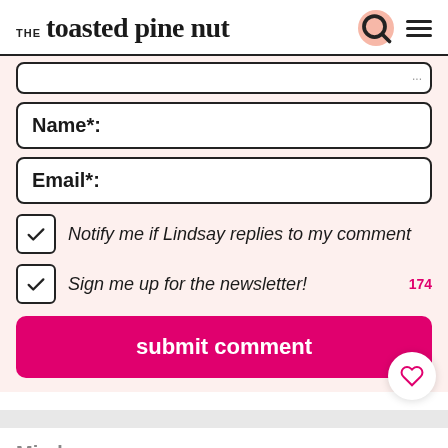THE toasted pine nut
Name*:
Email*:
Notify me if Lindsay replies to my comment
Sign me up for the newsletter!
submit comment
Mindy
posted on 5/12/20 at 6:17 am